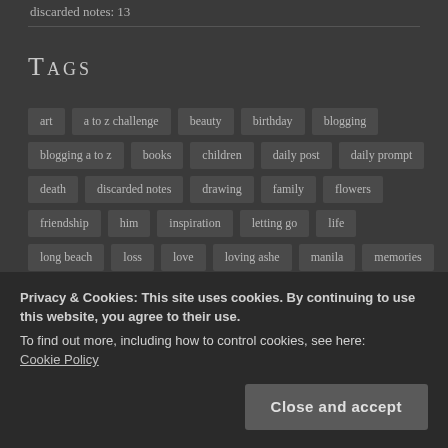discarded notes: 13
Tags
art
a to z challenge
beauty
birthday
blogging
blogging a to z
books
children
daily post
daily prompt
death
discarded notes
drawing
family
flowers
friendship
him
inspiration
letting go
life
long beach
loss
love
loving ashe
manila
memories
memory
mine
mondayblogs
moving on
muse
nanowrimo
Privacy & Cookies: This site uses cookies. By continuing to use this website, you agree to their use.
To find out more, including how to control cookies, see here: Cookie Policy
Close and accept